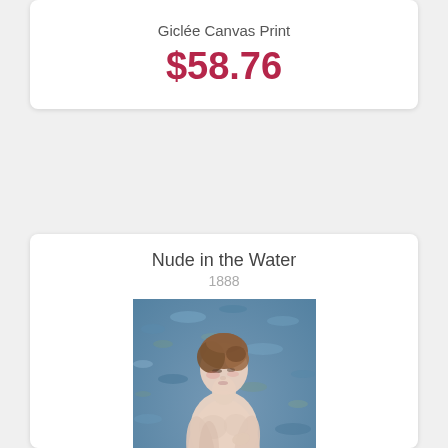Giclée Canvas Print
$58.76
Nude in the Water
1888
[Figure (photo): Painting of a nude woman standing in water, Impressionist style, circa 1888. The figure has brown hair and is shown from the waist up against a background of blue-green water with dappled light.]